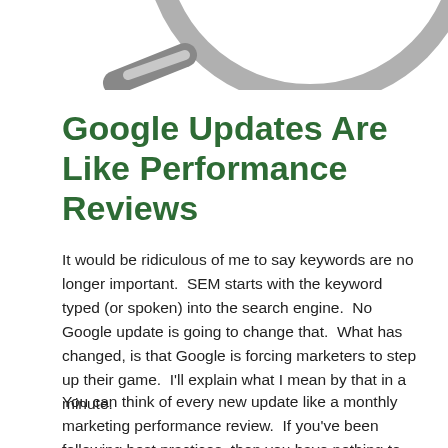[Figure (illustration): Partial view of a magnifying glass illustration, showing the handle and lower portion of the lens frame in grayscale, cropped at the top of the page.]
Google Updates Are Like Performance Reviews
It would be ridiculous of me to say keywords are no longer important.  SEM starts with the keyword typed (or spoken) into the search engine.  No Google update is going to change that.  What has changed, is that Google is forcing marketers to step up their game.  I'll explain what I mean by that in a minute.
You can think of every new update like a monthly marketing performance review.  If you've been following best practices, then you have nothing to worry about.  If you've been taking shortcuts (i.e.  focusing on keywords